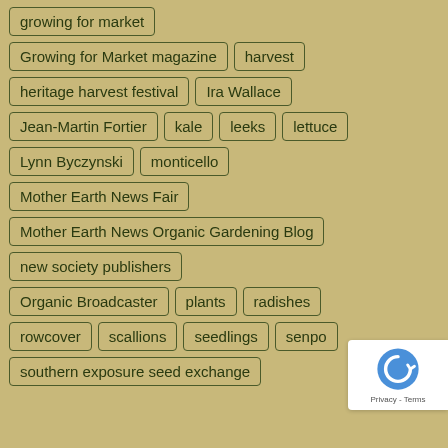growing for market
Growing for Market magazine
harvest
heritage harvest festival
Ira Wallace
Jean-Martin Fortier
kale
leeks
lettuce
Lynn Byczynski
monticello
Mother Earth News Fair
Mother Earth News Organic Gardening Blog
new society publishers
Organic Broadcaster
plants
radishes
rowcover
scallions
seedlings
senpo
southern exposure seed exchange